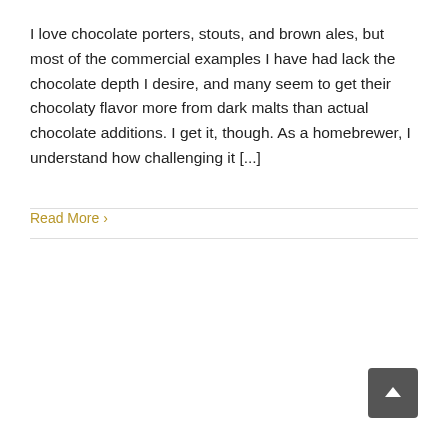I love chocolate porters, stouts, and brown ales, but most of the commercial examples I have had lack the chocolate depth I desire, and many seem to get their chocolaty flavor more from dark malts than actual chocolate additions. I get it, though. As a homebrewer, I understand how challenging it [...]
Read More >